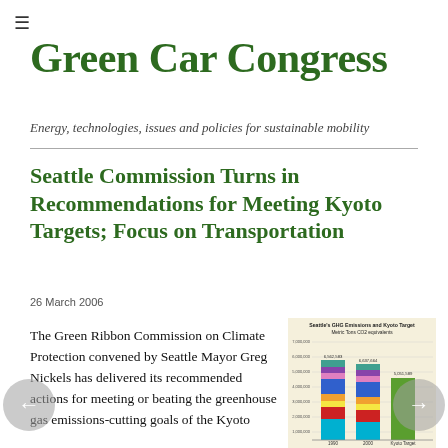≡
Green Car Congress
Energy, technologies, issues and policies for sustainable mobility
Seattle Commission Turns in Recommendations for Meeting Kyoto Targets; Focus on Transportation
26 March 2006
The Green Ribbon Commission on Climate Protection convened by Seattle Mayor Greg Nickels has delivered its recommended actions for meeting or beating the greenhouse gas emissions-cutting goals of the Kyoto
[Figure (stacked-bar-chart): Stacked bar chart showing Seattle GHG emissions and Kyoto target in metric tons CO2 equivalents with multiple colored segments]